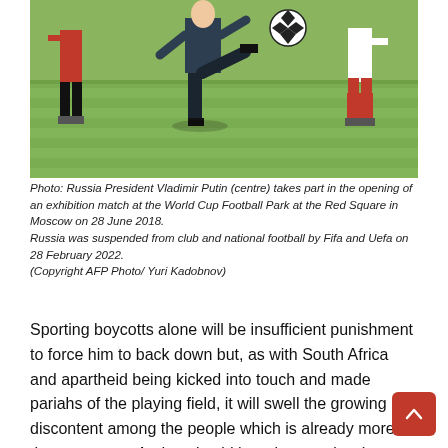[Figure (photo): Russia President Vladimir Putin kicking a football on a grass pitch, flanked by players in red and white kit, at the World Cup Football Park at Red Square, Moscow.]
Photo: Russia President Vladimir Putin (centre) takes part in the opening of an exhibition match at the World Cup Football Park at the Red Square in Moscow on 28 June 2018.
Russia was suspended from club and national football by Fifa and Uefa on 28 February 2022.
(Copyright AFP Photo/ Yuri Kadobnov)
Sporting boycotts alone will be insufficient punishment to force him to back down but, as with South Africa and apartheid being kicked into touch and made pariahs of the playing field, it will swell the growing discontent among the people which is already more than murmurs. And, as I said here last week, who knows what this might lead to.